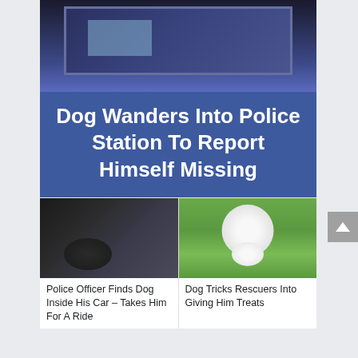[Figure (photo): Main article card with photo of a police station counter/window at top, and blue background with large white headline text reading: Dog Wanders Into Police Station To Report Himself Missing]
Dog Wanders Into Police Station To Report Himself Missing
[Figure (photo): Thumbnail photo of a dark-colored dog inside a car]
Police Officer Finds Dog Inside His Car – Takes Him For A Ride
[Figure (photo): Thumbnail photo of a fluffy white Bichon Frise dog on grass]
Dog Tricks Rescuers Into Giving Him Treats